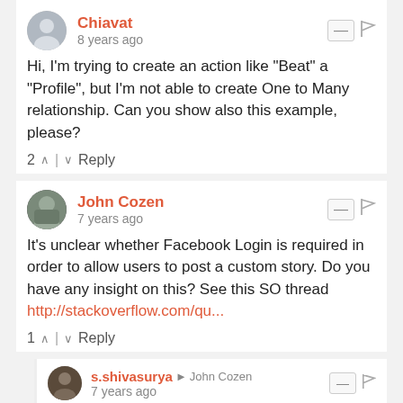Chiavat
8 years ago
Hi, I'm trying to create an action like "Beat" a "Profile", but I'm not able to create One to Many relationship. Can you show also this example, please?
2 ∧ | ∨ Reply
John Cozen
7 years ago
It's unclear whether Facebook Login is required in order to allow users to post a custom story. Do you have any insight on this? See this SO thread http://stackoverflow.com/qu...
1 ∧ | ∨ Reply
s.shivasurya → John Cozen
7 years ago
https://developers.facebook...
see at the last table!
Only available if the user is logged into your